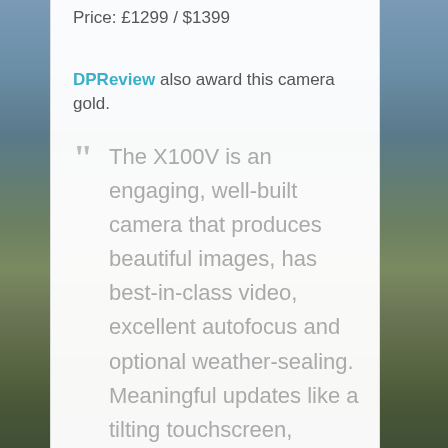Price: £1299 / $1399
DPReview also award this camera gold.
The X100V is an engaging, well-built camera that produces beautiful images, has best-in-class video, excellent autofocus and optional weather-sealing. Meaningful updates like a tilting touchscreen, updated viewfinder and redesigned lens have us largely looking past its imperfections. Assuming you like the 35mm-equivalent focal length, it makes a strong case as a photographer's carry-